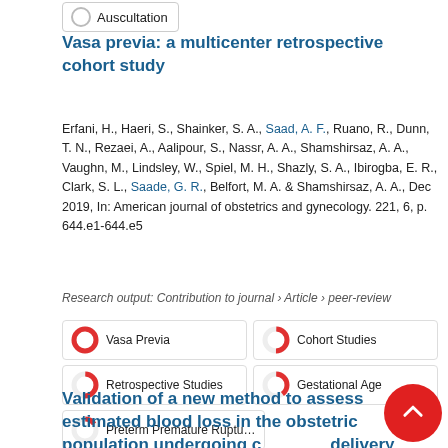Auscultation
Vasa previa: a multicenter retrospective cohort study
Erfani, H., Haeri, S., Shainker, S. A., Saad, A. F., Ruano, R., Dunn, T. N., Rezaei, A., Aalipour, S., Nassr, A. A., Shamshirsaz, A. A., Vaughn, M., Lindsley, W., Spiel, M. H., Shazly, S. A., Ibirogba, E. R., Clark, S. L., Saade, G. R., Belfort, M. A. & Shamshirsaz, A. A., Dec 2019, In: American journal of obstetrics and gynecology. 221, 6, p. 644.e1-644.e5
Research output: Contribution to journal › Article › peer-review
Vasa Previa
Cohort Studies
Retrospective Studies
Gestational Age
Preterm Premature Rupture Of
Validation of a new method to assess estimated blood loss in the obstetric population undergoing cesarean delivery